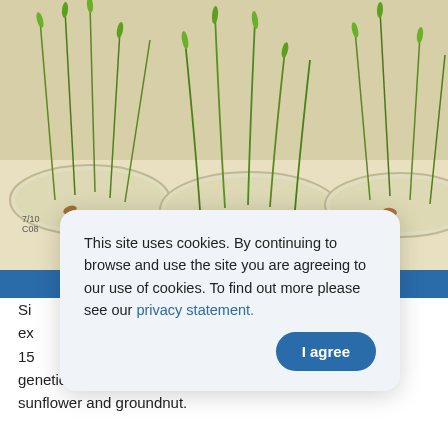[Figure (photo): Close-up photograph of seedlings growing in petri dishes with seeds and thin green sprouts, likely a germination experiment in a laboratory setting.]
This site uses cookies. By continuing to browse and use the site you are agreeing to our use of cookies. To find out more please see our privacy statement.
I agree
Si ex 15 genetic resources of such important crops as potato, sunflower and groundnut.